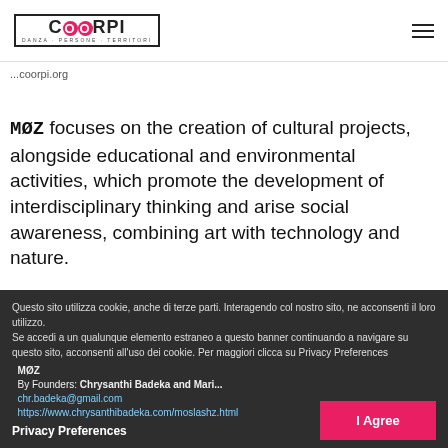[Figure (logo): COORPI logo with tagline DANZA · PERSONE · TERRITORI]
...coorpi.org
MØZ focuses on the creation of cultural projects, alongside educational and environmental activities, which promote the development of interdisciplinary thinking and arise social awareness, combining art with technology and nature.
Questo sito utilizza cookie, anche di terze parti. Interagendo col nostro sito, ne acconsenti il loro utilizzo.
Se accedi a un qualunque elemento estraneo a questo banner continuando a navigare su questo sito, acconsenti all'uso dei cookie. Per maggiori clicca su Privacy Preferences

MØZ
By Founders: Chrysanthi Badeka and Mari...
chr.badeka@gmail.com
https://www.chrysanthibadeka.com/moslashz.html
Privacy Preferences
I Agree